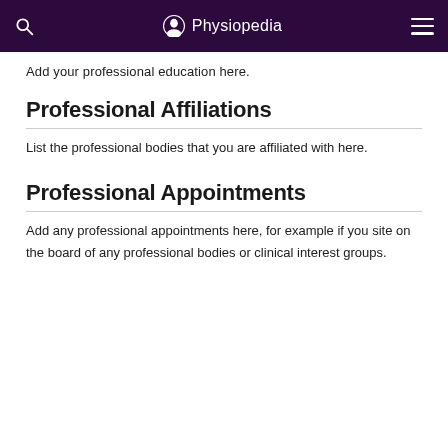Physiopedia
Add your professional education here.
Professional Affiliations
List the professional bodies that you are affiliated with here.
Professional Appointments
Add any professional appointments here, for example if you site on the board of any professional bodies or clinical interest groups.